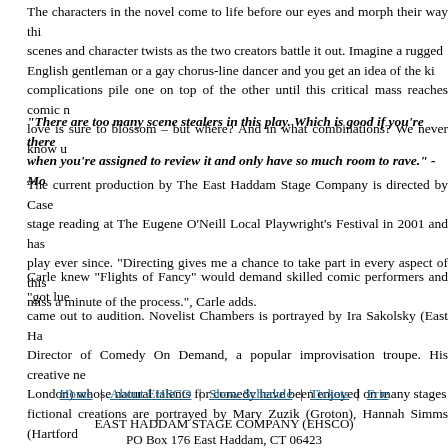The characters in the novel come to life before our eyes and morph their way through scenes and character twists as the two creators battle it out. Imagine a rugged English gentleman or a gay chorus-line dancer and you get an idea of the kind of complications pile one on top of the other until this critical mass reaches comic n love is sure to blossom – but where? And in what combinations? We never know u
"There are too many scene stealers in this play. Which is good if you're there when you're assigned to review it and only have so much room to rave." -Mo
The current production by The East Haddam Stage Company is directed by Case stage reading at The Eugene O'Neill Local Playwright's Festival in 2001 and has play ever since. "Directing gives me a chance to take part in every aspect of this miss a minute of the process.", Carle adds.
Carle knew "Flights of Fancy" would demand skilled comic performers and "got luc came out to audition. Novelist Chambers is portrayed by Ira Sakolsky (East Ha Director of Comedy On Demand, a popular improvisation troupe. His creative ne London) whose natural talents for comedy have been enjoyed on many stages fictional creations are portrayed by Mary Zuzik (Groton), Hannah Simms (Hartford Chester's David Cardone plays the gruff but loveable publisher.
Playwright Wingrove is a native of Seattle who now makes her home in Connecticu Academy of Dramatic Arts and the next ten years were, as she puts it, "an endles lunches and PTA meetings." Since returning to the theatrical work force she has a has won the Eugene O'Neill Award.
Home | About EHSCO | Show Schedule | Tickets | Frie
EAST HADDAM STAGE COMPANY (EHSCO)
PO Box 176 East Haddam, CT 06423